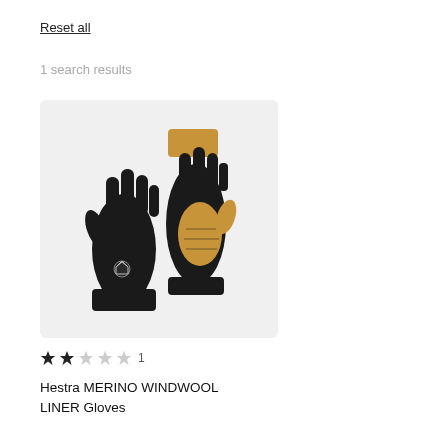Reset all
1 search results
[Figure (photo): Two black Hestra Merino Windwool Liner Gloves shown side by side — one showing the palm side with a tan/camel leather palm patch and grip texture, the other showing the back of the hand with a small Hestra logo badge. Both gloves are black with a tan cuff detail.]
★★☆☆☆ 1
Hestra MERINO WINDWOOL LINER Gloves